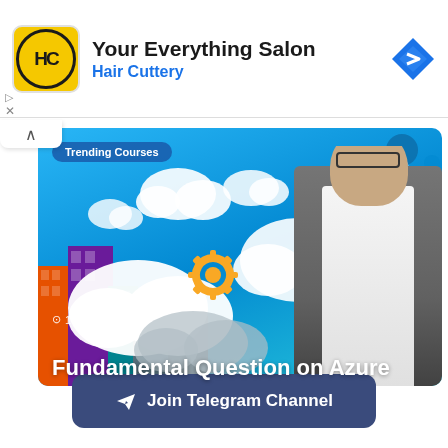[Figure (screenshot): Hair Cuttery advertisement banner with yellow HC logo, title 'Your Everything Salon', subtitle 'Hair Cuttery' in blue, and a blue diamond navigation arrow icon on the right]
[Figure (screenshot): Trending Courses thumbnail showing Azure cloud computing course with blue background, cloud illustrations, gear icon, city buildings, network nodes, and an instructor standing on the right. Text shows '1 day ago' and course title 'Fundamental Question on Azure']
Join Telegram Channel